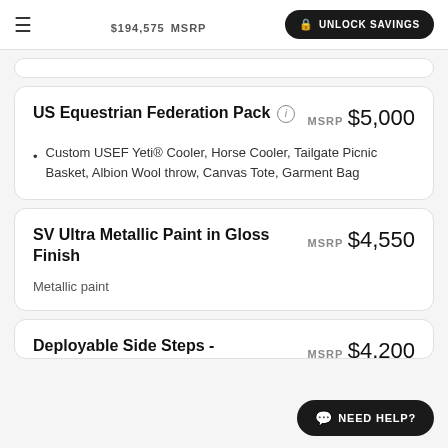$194,575 MSRP  UNLOCK SAVINGS
US Equestrian Federation Pack
MSRP $5,000
Custom USEF Yeti® Cooler, Horse Cooler, Tailgate Picnic Basket, Albion Wool throw, Canvas Tote, Garment Bag
SV Ultra Metallic Paint in Gloss Finish
MSRP $4,550
Metallic paint
Deployable Side Steps -
MSRP $4,200